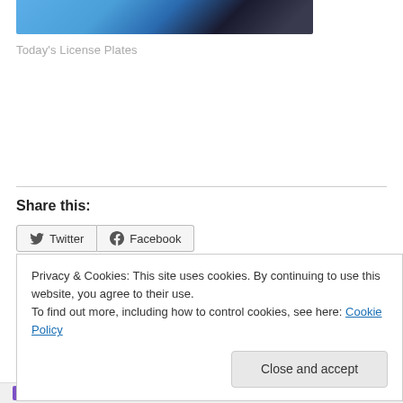[Figure (photo): Partial photo strip showing license plates with blue tones, cropped at top]
Today's License Plates
Share this:
[Figure (screenshot): Twitter and Facebook share buttons]
Privacy & Cookies: This site uses cookies. By continuing to use this website, you agree to their use.
To find out more, including how to control cookies, see here: Cookie Policy
Close and accept